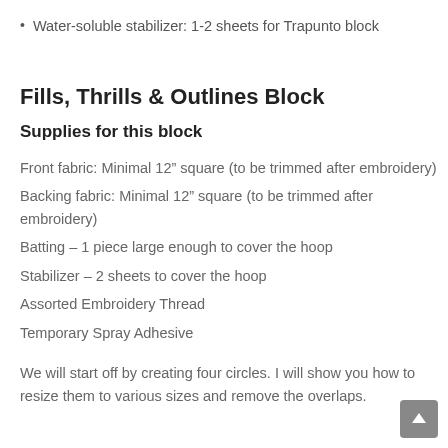Water-soluble stabilizer: 1-2 sheets for Trapunto block
Fills, Thrills & Outlines Block
Supplies for this block
Front fabric: Minimal 12” square (to be trimmed after embroidery)
Backing fabric: Minimal 12” square (to be trimmed after embroidery)
Batting – 1 piece large enough to cover the hoop
Stabilizer – 2 sheets to cover the hoop
Assorted Embroidery Thread
Temporary Spray Adhesive
We will start off by creating four circles. I will show you how to resize them to various sizes and remove the overlaps.